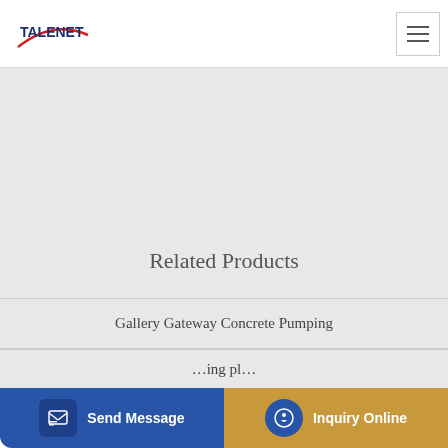TALENET
[Figure (photo): White/light gray banner hero area with faint textured background]
Related Products
Gallery Gateway Concrete Pumping
BETTER machine Concrete plant amazing concrete RMC
...ing pl...